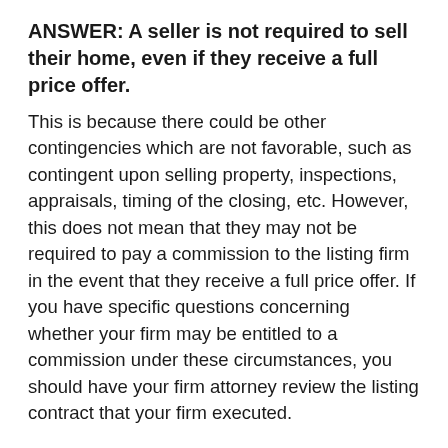ANSWER: A seller is not required to sell their home, even if they receive a full price offer. This is because there could be other contingencies which are not favorable, such as contingent upon selling property, inspections, appraisals, timing of the closing, etc. However, this does not mean that they may not be required to pay a commission to the listing firm in the event that they receive a full price offer. If you have specific questions concerning whether your firm may be entitled to a commission under these circumstances, you should have your firm attorney review the listing contract that your firm executed.